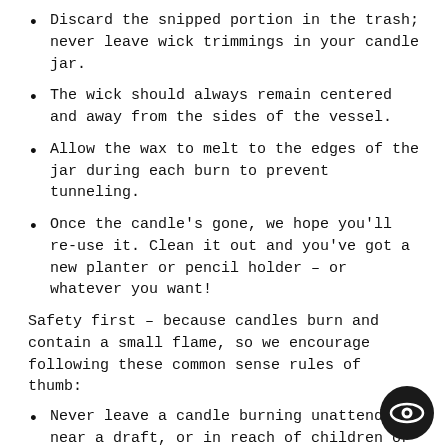Discard the snipped portion in the trash; never leave wick trimmings in your candle jar.
The wick should always remain centered and away from the sides of the vessel.
Allow the wax to melt to the edges of the jar during each burn to prevent tunneling.
Once the candle's gone, we hope you'll re-use it. Clean it out and you've got a new planter or pencil holder – or whatever you want!
Safety first – because candles burn and contain a small flame, so we encourage following these common sense rules of thumb:
Never leave a candle burning unattended, near a draft, or in reach of children or pets.
Don't burn your candle for more than 4 hours at a time.
Do not allow your wick to curl over, as this can